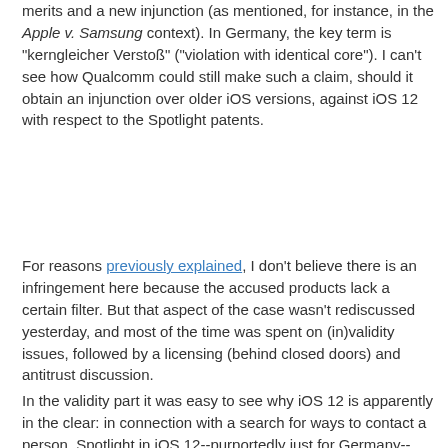merits and a new injunction (as mentioned, for instance, in the Apple v. Samsung context). In Germany, the key term is "kerngleicher Verstoß" ("violation with identical core"). I can't see how Qualcomm could still make such a claim, should it obtain an injunction over older iOS versions, against iOS 12 with respect to the Spotlight patents.
For reasons previously explained, I don't believe there is an infringement here because the accused products lack a certain filter. But that aspect of the case wasn't rediscussed yesterday, and most of the time was spent on (in)validity issues, followed by a licensing (behind closed doors) and antitrust discussion.
In the validity part it was easy to see why iOS 12 is apparently in the clear: in connection with a search for ways to contact a person, Spotlight in iOS 12--purportedly just for Germany--displays text, but not icons, when distinguishing between a given contact's phone number, email address, and other contact data. Does this sound ridiculous to you? It